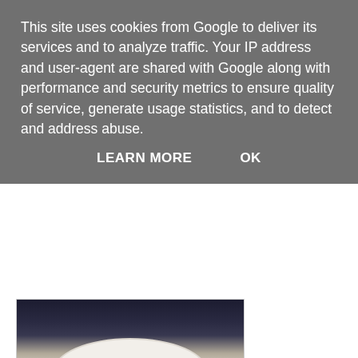This site uses cookies from Google to deliver its services and to analyze traffic. Your IP address and user-agent are shared with Google along with performance and security metrics to ensure quality of service, generate usage statistics, and to detect and address abuse.
LEARN MORE   OK
[Figure (photo): Partial view of a food photo showing a white plate on a dark background, only the bottom portion visible]
[Figure (photo): Photo of a green Dakhin South Indian Kitchen menu/card on a table]
Whilst my mum was down for the Commonwealth Games